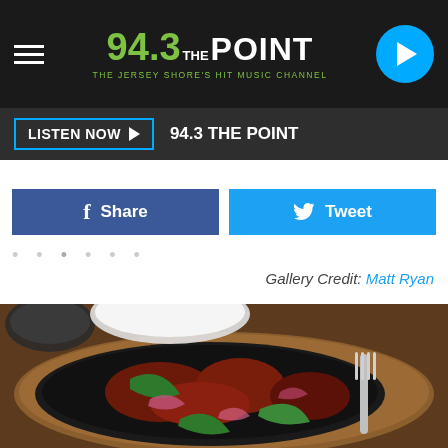[Figure (screenshot): 94.3 The Point radio station top navigation bar with hamburger menu, logo, and play button]
[Figure (screenshot): Listen Now button bar showing '94.3 THE POINT' station name]
[Figure (screenshot): Facebook Share and Twitter Tweet social sharing buttons]
Gallery Credit: Matt Ryan
[Figure (photo): Food photo showing a sizzling cast iron skillet with steak fajitas - grilled meat, green peppers, red onions on a wooden board with a fork]